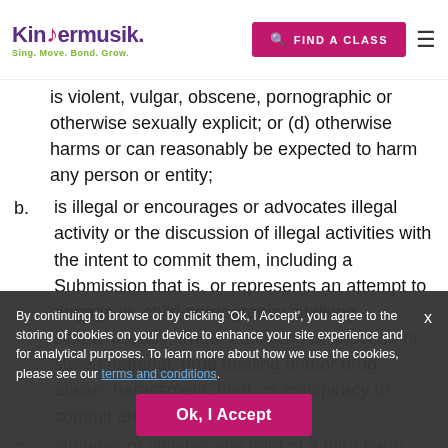[Figure (logo): Kindermusik logo with musical note and tagline 'Sing. Move. Bond. Grow.']
is violent, vulgar, obscene, pornographic or otherwise sexually explicit; or (d) otherwise harms or can reasonably be expected to harm any person or entity;
b. is illegal or encourages or advocates illegal activity or the discussion of illegal activities with the intent to commit them, including a Submission that is, or represents an attempt to engage in, child pornography, stalking, sexual assault, fraud, trafficking in obscene or stolen material, drug dealing and/or drug abuse, harassment, theft, or conspiracy to commit any criminal activity;
c. infringes or violates any right of a third party including: (a) copyright, trademark,
By continuing to browse or by clicking 'Ok, I Accept', you agree to the storing of cookies on your device to enhance your site experience and for analytical purposes. To learn more about how we use the cookies, please see our terms and conditions.